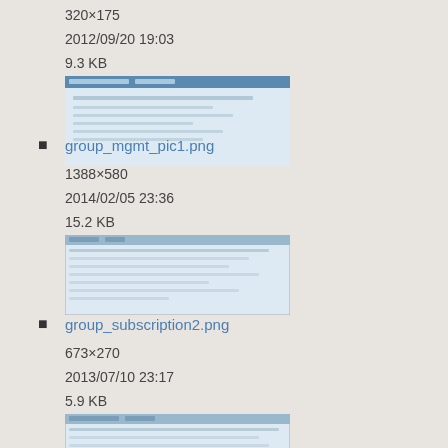320×175
2012/09/20 19:03
9.3 KB
[Figure (screenshot): Thumbnail of group_mgmt_pic1.png showing a web interface screenshot]
group_mgmt_pic1.png
1388×580
2014/02/05 23:36
15.2 KB
[Figure (screenshot): Thumbnail of group_subscription2.png showing a table/form interface]
group_subscription2.png
673×270
2013/07/10 23:17
5.9 KB
[Figure (screenshot): Thumbnail of group_subscription_pic.png showing a table interface]
group_subscription_pic.png
1655×661
2013/06/25 19:25
38.7 KB